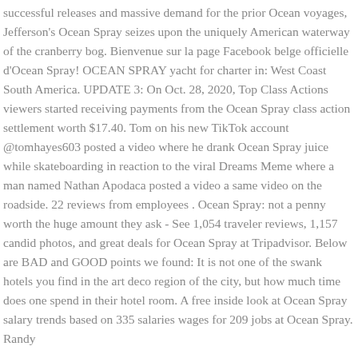successful releases and massive demand for the prior Ocean voyages, Jefferson's Ocean Spray seizes upon the uniquely American waterway of the cranberry bog. Bienvenue sur la page Facebook belge officielle d'Ocean Spray! OCEAN SPRAY yacht for charter in: West Coast South America. UPDATE 3: On Oct. 28, 2020, Top Class Actions viewers started receiving payments from the Ocean Spray class action settlement worth $17.40. Tom on his new TikTok account @tomhayes603 posted a video where he drank Ocean Spray juice while skateboarding in reaction to the viral Dreams Meme where a man named Nathan Apodaca posted a video a same video on the roadside. 22 reviews from employees . Ocean Spray: not a penny worth the huge amount they ask - See 1,054 traveler reviews, 1,157 candid photos, and great deals for Ocean Spray at Tripadvisor. Below are BAD and GOOD points we found: It is not one of the swank hotels you find in the art deco region of the city, but how much time does one spend in their hotel room. A free inside look at Ocean Spray salary trends based on 335 salaries wages for 209 jobs at Ocean Spray. Randy